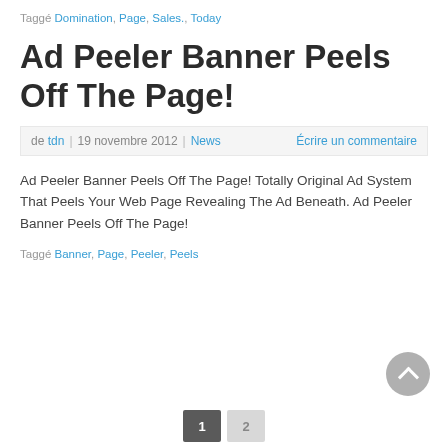Taggé Domination, Page, Sales., Today
Ad Peeler Banner Peels Off The Page!
de tdn | 19 novembre 2012 | News   Écrire un commentaire
Ad Peeler Banner Peels Off The Page! Totally Original Ad System That Peels Your Web Page Revealing The Ad Beneath. Ad Peeler Banner Peels Off The Page!
Taggé Banner, Page, Peeler, Peels
1  2